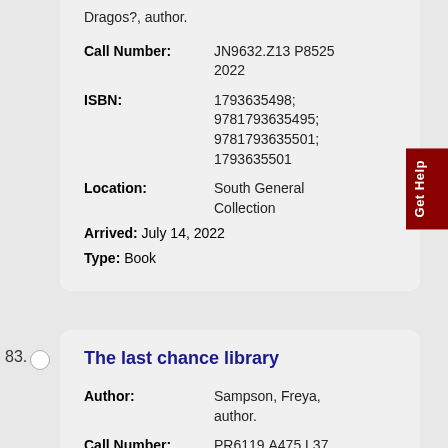Dragos?, author.
Call Number: JN9632.Z13 P8525 2022
ISBN: 1793635498; 9781793635495; 9781793635501; 1793635501
Location: South General Collection
Arrived: July 14, 2022
Type: Book
83.
The last chance library
Author: Sampson, Freya, author.
Call Number: PR6119.A475 L37